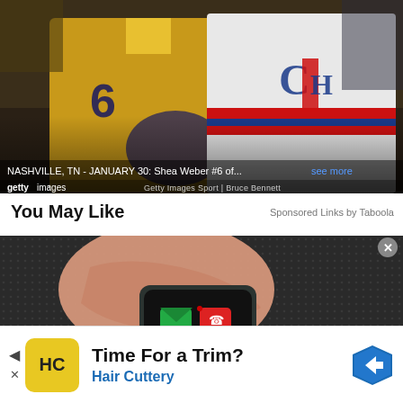[Figure (photo): Two NHL hockey players standing on ice: one wearing Nashville Predators gold jersey #6 and one wearing Montreal Canadiens white jersey. Crowd visible in background. Getty Images photo by Bruce Bennett.]
NASHVILLE, TN - JANUARY 30: Shea Weber #6 of... see more
getty images   Getty Images Sport | Bruce Bennett
You May Like
Sponsored Links by Taboola
[Figure (photo): Close-up macro photo of a finger touching a smartphone screen showing app icons including a green envelope and red phone icon on dark textured background.]
Time For a Trim? Hair Cuttery